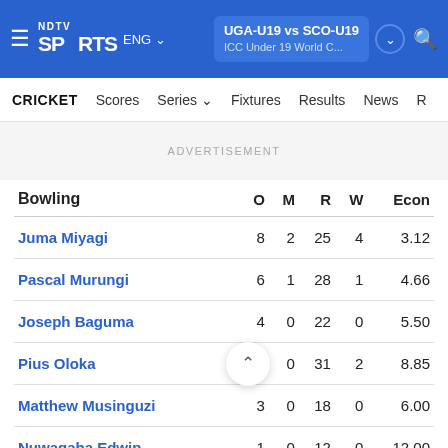NDTV Sports ENG | UGA-U19 vs SCO-U19 | ICC Under 19 World C...
CRICKET | Scores | Series | Fixtures | Results | News
ADVERTISEMENT
| Bowling | O | M | R | W | Econ |
| --- | --- | --- | --- | --- | --- |
| Juma Miyagi | 8 | 2 | 25 | 4 | 3.12 |
| Pascal Murungi | 6 | 1 | 28 | 1 | 4.66 |
| Joseph Baguma | 4 | 0 | 22 | 0 | 5.50 |
| Pius Oloka | 3.3 | 0 | 31 | 2 | 8.85 |
| Matthew Musinguzi | 3 | 0 | 18 | 0 | 6.00 |
| Nuwagaba Edwin | 1 | 0 | 12 | 0 | 12.00 |